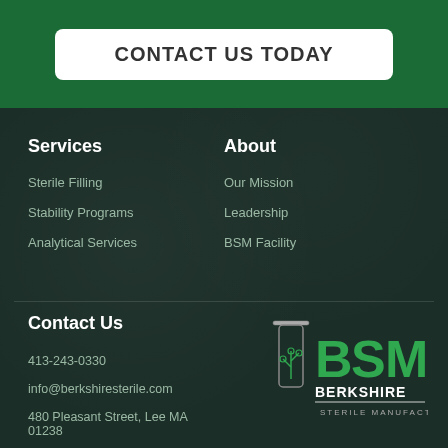CONTACT US TODAY
Services
Sterile Filling
Stability Programs
Analytical Services
About
Our Mission
Leadership
BSM Facility
Contact Us
413-243-0330
info@berkshiresterile.com
480 Pleasant Street, Lee MA 01238
[Figure (logo): Berkshire Sterile Manufacturing (BSM) logo with stylized letters and vial icon]